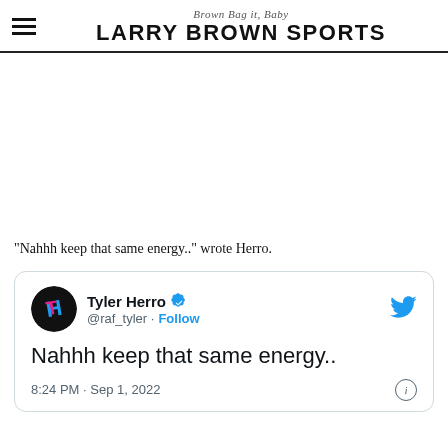Brown Bag it, Baby
LARRY BROWN SPORTS
[Figure (other): Advertisement placeholder area (white space)]
“Nahhh keep that same energy..” wrote Herro.
[Figure (screenshot): Tweet by Tyler Herro (@raf_tyler) with verified badge. Text: 'Nahhh keep that same energy..' Posted at 8:24 PM · Sep 1, 2022. Follow button visible.]